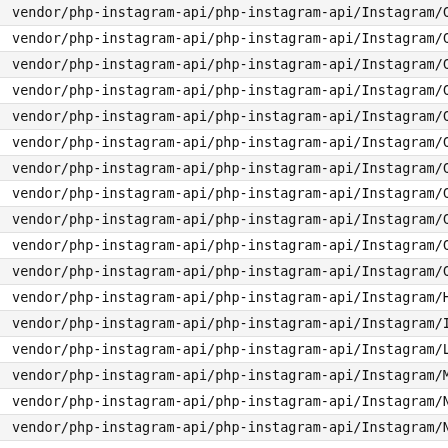vendor/php-instagram-api/php-instagram-api/Instagram/Collect
vendor/php-instagram-api/php-instagram-api/Instagram/Collect
vendor/php-instagram-api/php-instagram-api/Instagram/Collect
vendor/php-instagram-api/php-instagram-api/Instagram/Collect
vendor/php-instagram-api/php-instagram-api/Instagram/Collect
vendor/php-instagram-api/php-instagram-api/Instagram/Comment
vendor/php-instagram-api/php-instagram-api/Instagram/Core/Ap
vendor/php-instagram-api/php-instagram-api/Instagram/Core/Ap
vendor/php-instagram-api/php-instagram-api/Instagram/Core/Ba
vendor/php-instagram-api/php-instagram-api/Instagram/Core/Pr
vendor/php-instagram-api/php-instagram-api/Instagram/Current
vendor/php-instagram-api/php-instagram-api/Instagram/Helper.
vendor/php-instagram-api/php-instagram-api/Instagram/Instagr
vendor/php-instagram-api/php-instagram-api/Instagram/Locatio
vendor/php-instagram-api/php-instagram-api/Instagram/Media.p
vendor/php-instagram-api/php-instagram-api/Instagram/Net/Api
vendor/php-instagram-api/php-instagram-api/Instagram/Net/Cli